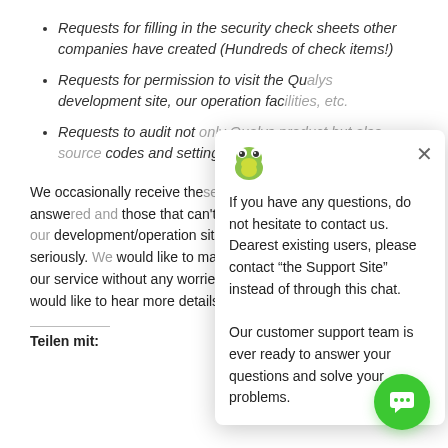Requests for filling in the security check sheets other companies have created (Hundreds of check items!)
Requests for permission to visit the Qualys development site, our operation facilities, etc.
Requests to audit not only Qualys product but also source codes and settings co...
We occasionally receive these kinds of requests that can be answered and those that can't be done (we don't allow visits to our development/operation site...) and we will treat them all seriously. We would like to make efforts enabling you to use our service without any worries. If you have any questions or would like to hear more details, please feel free to contact...
[Figure (screenshot): Chat popup overlay with Qualys frog logo, close button (×), and message: 'If you have any questions, do not hesitate to contact us. Dearest existing users, please contact "the Support Site" instead of through this chat. Our customer support team is ever ready to answer your questions and solve your problems.']
Teilen mit: